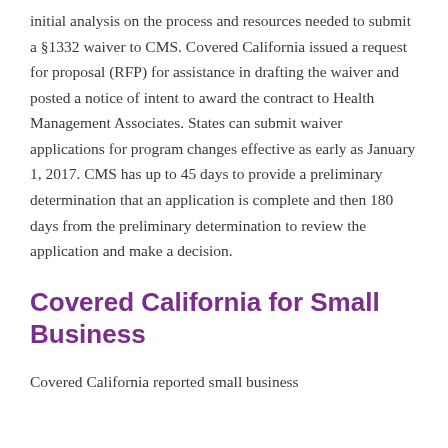initial analysis on the process and resources needed to submit a §1332 waiver to CMS. Covered California issued a request for proposal (RFP) for assistance in drafting the waiver and posted a notice of intent to award the contract to Health Management Associates. States can submit waiver applications for program changes effective as early as January 1, 2017. CMS has up to 45 days to provide a preliminary determination that an application is complete and then 180 days from the preliminary determination to review the application and make a decision.
Covered California for Small Business
Covered California reported small business